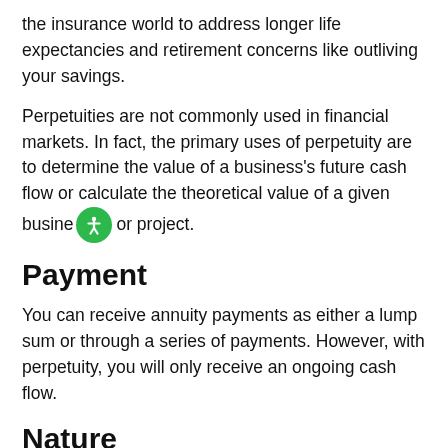the insurance world to address longer life expectancies and retirement concerns like outliving your savings.
Perpetuities are not commonly used in financial markets. In fact, the primary uses of perpetuity are to determine the value of a business's future cash flow or calculate the theoretical value of a given business or project.
Payment
You can receive annuity payments as either a lump sum or through a series of payments. However, with perpetuity, you will only receive an ongoing cash flow.
Nature